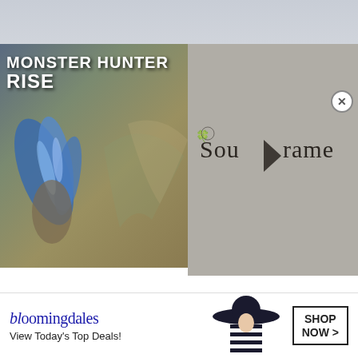[Figure (screenshot): Monster Hunter Rise game artwork on left panel showing blue feathered creature with title text 'MONSTER HUNTER RISE', and Soulframe logo on right panel with a play button overlay on textured gray background]
Image via Capcom
Although Monster Hunter Rise was not a PlayStation exclusive, it was a Nintendo Switch exclusive before it made its way over to Steam. Similar to the previous games, you'll be assuming the role of a hunter as they take on increasingly difficult a[...] massi[...] ons.
[Figure (screenshot): Bloomingdale's advertisement banner: 'bloomingdales View Today's Top Deals!' with a woman in a wide-brim hat and SHOP NOW > button]